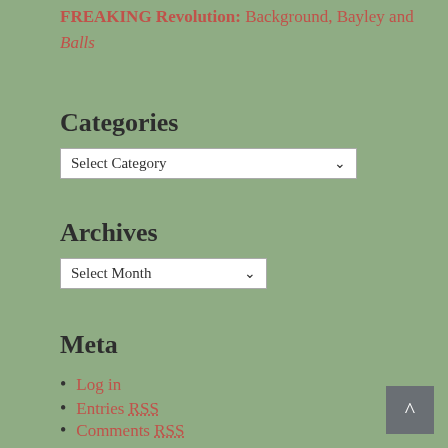FREAKING Revolution: Background, Bayley and Balls
Categories
Select Category (dropdown)
Archives
Select Month (dropdown)
Meta
Log in
Entries RSS
Comments RSS
WordPress.org